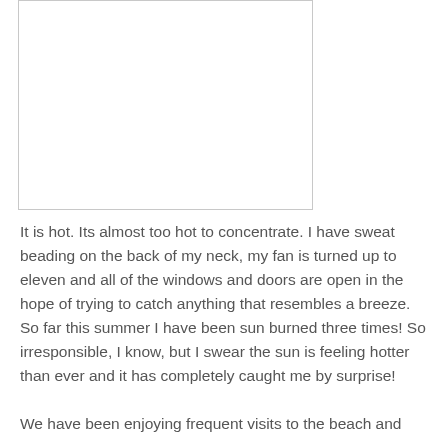[Figure (other): Empty white rectangle with light gray border, representing a placeholder image area]
It is hot. Its almost too hot to concentrate. I have sweat beading on the back of my neck, my fan is turned up to eleven and all of the windows and doors are open in the hope of trying to catch anything that resembles a breeze. So far this summer I have been sun burned three times! So irresponsible, I know, but I swear the sun is feeling hotter than ever and it has completely caught me by surprise!

We have been enjoying frequent visits to the beach and